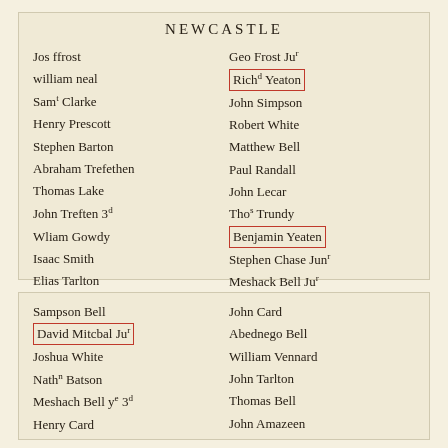NEWCASTLE
Jos ffrost
william neal
Saml Clarke
Henry Prescott
Stephen Barton
Abraham Trefethen
Thomas Lake
John Treften 3d
Wliam Gowdy
Isaac Smith
Elias Tarlton
Ephraim Amazeen
Geo Frost Jur
Richd Yeaton
John Simpson
Robert White
Matthew Bell
Paul Randall
John Lecar
Thos Trundy
Benjamin Yeaten
Stephen Chase Junr
Meshack Bell Jur
James Neal
Sampson Bell
David Mitcbal Jur
Joshua White
Nathn Batson
Meshach Bell ye 3d
Henry Card
Edward Card
John Card
Abednego Bell
William Vennard
John Tarlton
Thomas Bell
John Amazeen
John Treffren Jr